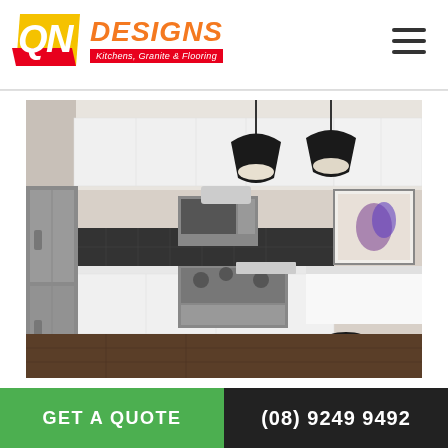QN DESIGNS - Kitchens, Granite & Flooring
[Figure (photo): Modern white kitchen with stainless steel appliances, dark tile backsplash, white island with two black bar stools, dark wood flooring, and two black pendant lights hanging from ceiling]
GET A QUOTE
(08) 9249 9492